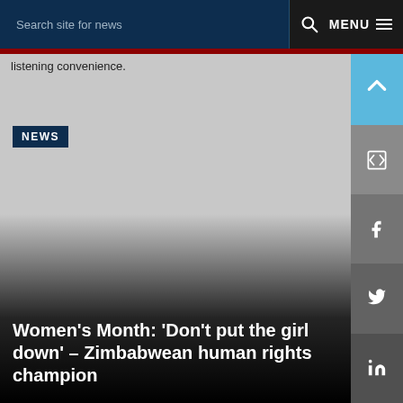Search site for news  🔍  MENU
listening convenience.
NEWS
Women's Month: 'Don't put the girl down' – Zimbabwean human rights champion